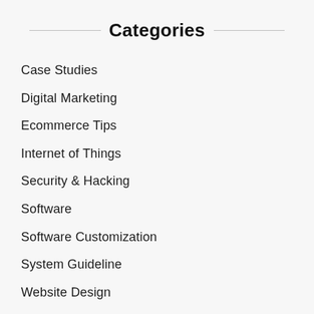Categories
Case Studies
Digital Marketing
Ecommerce Tips
Internet of Things
Security & Hacking
Software
Software Customization
System Guideline
Website Design